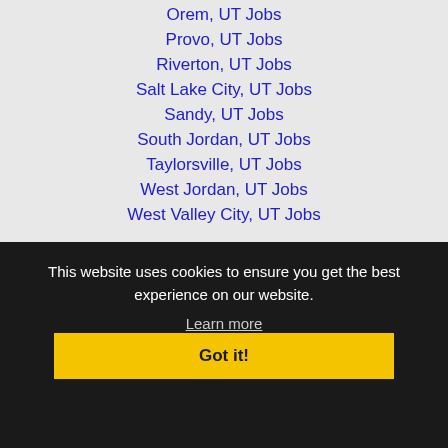Orem, UT Jobs
Provo, UT Jobs
Riverton, UT Jobs
Salt Lake City, UT Jobs
Sandy, UT Jobs
South Jordan, UT Jobs
Taylorsville, UT Jobs
West Jordan, UT Jobs
West Valley City, UT Jobs
This website uses cookies to ensure you get the best experience on our website.
Learn more
Got it!